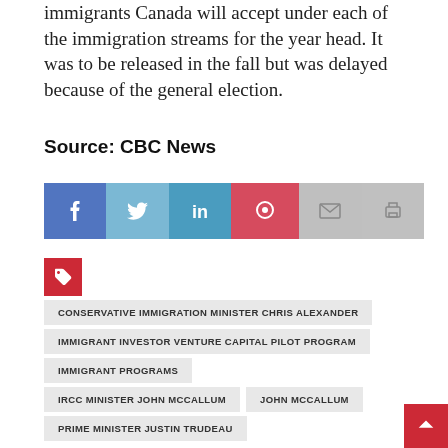immigrants Canada will accept under each of the immigration streams for the year head. It was to be released in the fall but was delayed because of the general election.
Source: CBC News
[Figure (infographic): Social sharing buttons: Facebook (blue), Twitter (light blue), LinkedIn (teal), Pinterest (red), Email (light grey), Print (grey)]
[Figure (infographic): Red tag icon indicating tags section]
CONSERVATIVE IMMIGRATION MINISTER CHRIS ALEXANDER
IMMIGRANT INVESTOR VENTURE CAPITAL PILOT PROGRAM
IMMIGRANT PROGRAMS
IRCC MINISTER JOHN MCCALLUM
JOHN MCCALLUM
PRIME MINISTER JUSTIN TRUDEAU